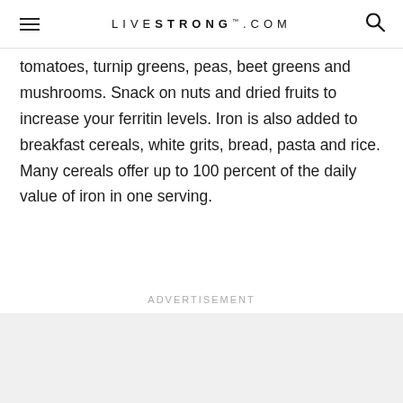LIVESTRONG.COM
tomatoes, turnip greens, peas, beet greens and mushrooms. Snack on nuts and dried fruits to increase your ferritin levels. Iron is also added to breakfast cereals, white grits, bread, pasta and rice. Many cereals offer up to 100 percent of the daily value of iron in one serving.
Advertisement